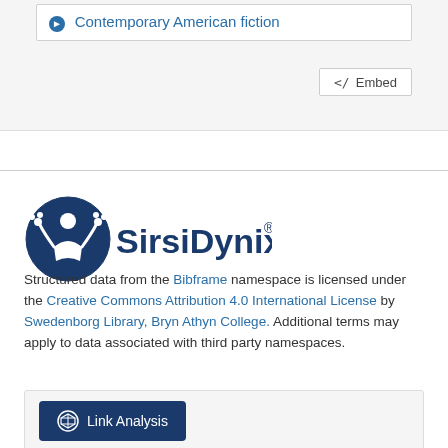Contemporary American fiction
[Figure (screenshot): Embed button with code icon]
[Figure (logo): SirsiDynix logo with icon and wordmark]
Structured data from the Bibframe namespace is licensed under the Creative Commons Attribution 4.0 International License by Swedenborg Library, Bryn Athyn College. Additional terms may apply to data associated with third party namespaces.
[Figure (screenshot): Link Analysis button]